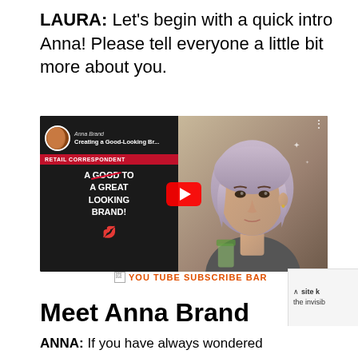LAURA: Let's begin with a quick intro Anna! Please tell everyone a little bit more about you.
[Figure (screenshot): YouTube video thumbnail for 'Creating a Good-Looking Br...' by Anna Brand. Left side shows dark background with text 'A GOOD TO A GREAT LOOKING BRAND!' with GOOD crossed out in red, red lips icon, and a red banner reading 'RETAIL CORRESPONDENT'. Right side shows a woman with short lavender/blonde hair. A red YouTube play button is centered over the thumbnail.]
YOU TUBE SUBSCRIBE BAR
Meet Anna Brand
ANNA: If you have always wondered